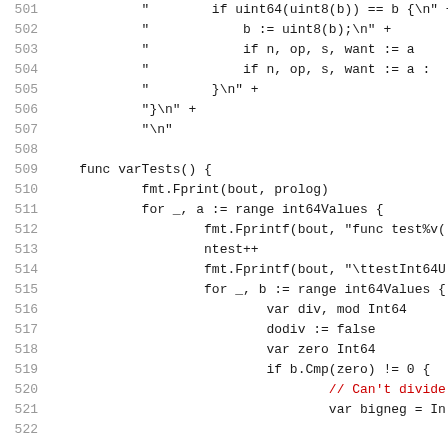Code listing lines 501-521, Go source code showing varTests function and related string concatenation
501: "        if uint64(uint8(b)) == b {\n" +
502: "            b := uint8(b);\n" +
503: "            if n, op, s, want := a
504: "            if n, op, s, want := a :
505: "        }\n" +
506: "}\n" +
507: "\n"
508: (empty)
509: func varTests() {
510:     fmt.Fprint(bout, prolog)
511:     for _, a := range int64Values {
512:         fmt.Fprintf(bout, "func test%v(
513:         ntest++
514:         fmt.Fprintf(bout, "\ttestInt64U
515:         for _, b := range int64Values {
516:             var div, mod Int64
517:             dodiv := false
518:             var zero Int64
519:             if b.Cmp(zero) != 0 {
520:             // Can't divide
521:             var bigneg = In